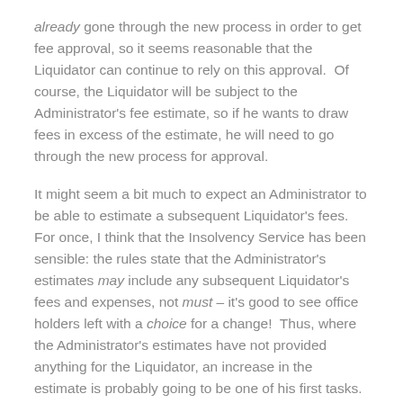already gone through the new process in order to get fee approval, so it seems reasonable that the Liquidator can continue to rely on this approval.  Of course, the Liquidator will be subject to the Administrator's fee estimate, so if he wants to draw fees in excess of the estimate, he will need to go through the new process for approval.
It might seem a bit much to expect an Administrator to be able to estimate a subsequent Liquidator's fees.  For once, I think that the Insolvency Service has been sensible: the rules state that the Administrator's estimates may include any subsequent Liquidator's fees and expenses, not must – it's good to see office holders left with a choice for a change!  Thus, where the Administrator's estimates have not provided anything for the Liquidator, an increase in the estimate is probably going to be one of his first tasks.
I wonder if an Administrator's estimate might be devised